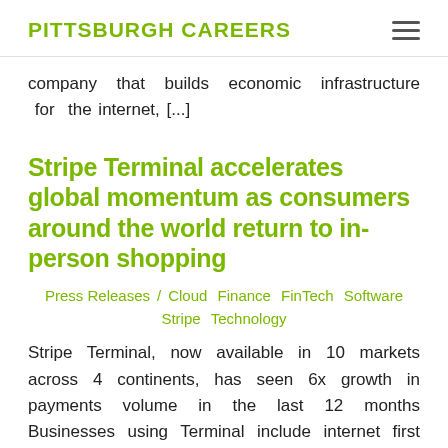PITTSBURGH CAREERS
company that builds economic infrastructure for the internet, [...]
Stripe Terminal accelerates global momentum as consumers around the world return to in-person shopping
Press Releases / Cloud Finance FinTech Software Stripe Technology
Stripe Terminal, now available in 10 markets across 4 continents, has seen 6x growth in payments volume in the last 12 months Businesses using Terminal include internet first retailers like Buck Mason, Glossier, and Warby Parker, as well as platform businesses like